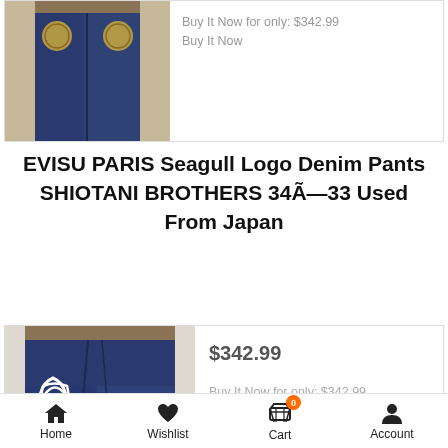[Figure (photo): Partial view of a denim jacket or pants with logo badges, shown from behind, dark blue denim on a light background]
Buy It Now for only: $342.99
Buy It Now
EVISU PARIS Seagull Logo Denim Pants SHIOTANI BROTHERS 34×33 Used From Japan
[Figure (photo): Dark blue denim jeans laid flat showing back with white seagull logo embroidery on pockets]
$342.99
Buy It Now for only: $342.99
Buy It Now
Home    Wishlist    Cart    Account